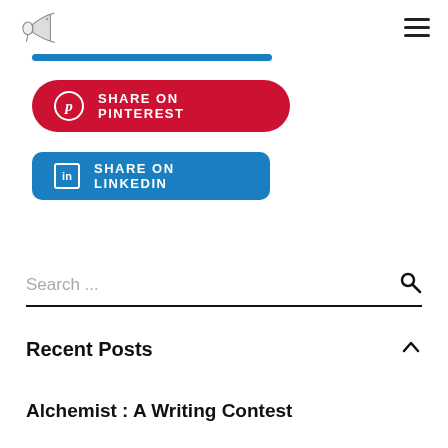Logo and navigation menu
[Figure (other): Share on Pinterest button - red rounded button with Pinterest icon and text SHARE ON PINTEREST]
[Figure (other): Share on LinkedIn button - blue rounded button with LinkedIn icon and text SHARE ON LINKEDIN]
Search ...
Recent Posts
Alchemist : A Writing Contest